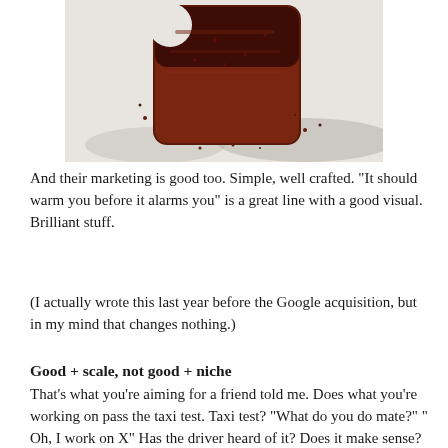[Figure (photo): A heavily burnt/toasted slice of bread with a bite taken out of the top-left corner, photographed from above on a white surface with a shadow visible]
And their marketing is good too. Simple, well crafted. "It should warm you before it alarms you" is a great line with a good visual. Brilliant stuff.
(I actually wrote this last year before the Google acquisition, but in my mind that changes nothing.)
Good + scale, not good + niche
That's what you're aiming for a friend told me. Does what you're working on pass the taxi test. Taxi test? "What do you do mate?" " Oh, I work on X" Has the driver heard of it? Does it make sense? I bet they remember the original Carling Black Label ads... See